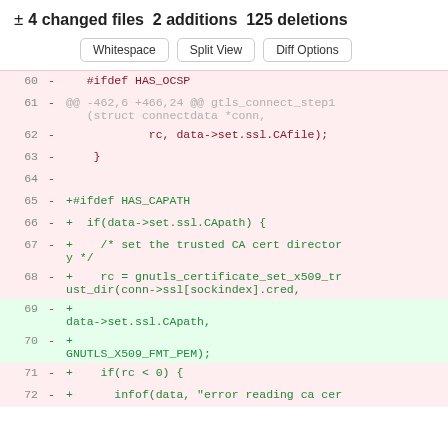± 4 changed files 2 additions 125 deletions
Whitespace | Split View | Diff Options
[Figure (screenshot): Code diff view showing deleted and added lines in a C source file, lines 60-72, involving HAS_OCSP, HAS_CAPATH, gnutls_certificate_set_x509_trust_dir function calls]